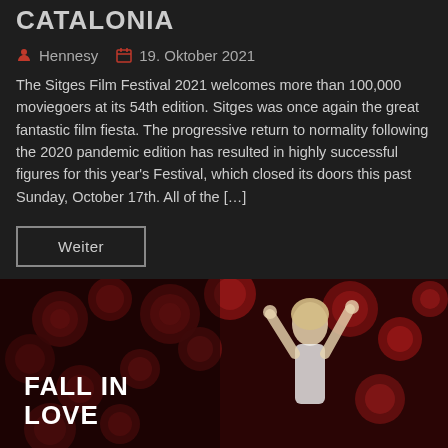CATALONIA
Hennesy   19. Oktober 2021
The Sitges Film Festival 2021 welcomes more than 100,000 moviegoers at its 54th edition. Sitges was once again the great fantastic film fiesta. The progressive return to normality following the 2020 pandemic edition has resulted in highly successful figures for this year's Festival, which closed its doors this past Sunday, October 17th. All of the […]
Weiter
[Figure (illustration): Movie poster image with red roses background showing a blonde woman with arms raised, overlaid with bold white text reading FALL IN LOVE]